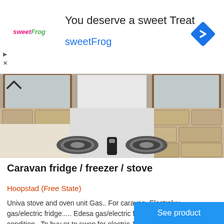[Figure (advertisement): sweetFrog advertisement banner with logo, headline 'You deserve a sweet Treat', subtext 'sweetFrog', and a blue diamond navigation icon on the right]
[Figure (photo): Photo of a caravan kitchen countertop with stone/brick surround, two circular electric/gas stove burners, a white splashback panel, and wooden-framed windows above]
Caravan fridge / freezer / stove
Hoopstad (Free State)
Univa stove and oven unit Gas.. For caravan. Electrolux gas/electric fridge..... Edesa gas/electric freezer... All in very good condition.. To buy or to swop for electric 100l fridge... 0842077235
See product